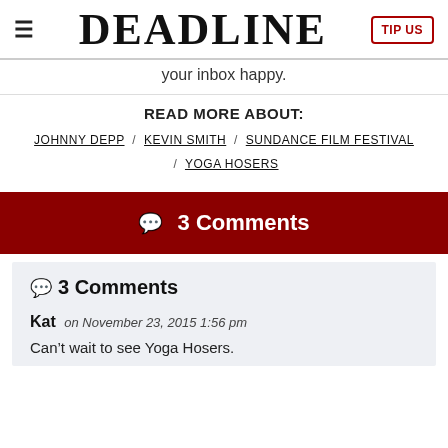≡  DEADLINE  TIP US
your inbox happy.
READ MORE ABOUT:
JOHNNY DEPP / KEVIN SMITH / SUNDANCE FILM FESTIVAL / YOGA HOSERS
💬 3 Comments
💬 3 Comments
Kat on November 23, 2015 1:56 pm
Can't wait to see Yoga Hosers.